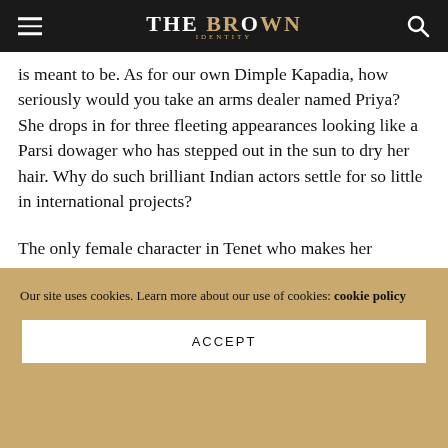The Brown Identity
is meant to be. As for our own Dimple Kapadia, how seriously would you take an arms dealer named Priya? She drops in for three fleeting appearances looking like a Parsi dowager who has stepped out in the sun to dry her hair. Why do such brilliant Indian actors settle for so little in international projects?
The only female character in Tenet who makes her presence felt is Sator’s wife Kat, played by the interesting Elizabeth Debicki. Kat takes a lot of cruelty
Our site uses cookies. Learn more about our use of cookies: cookie policy
ACCEPT